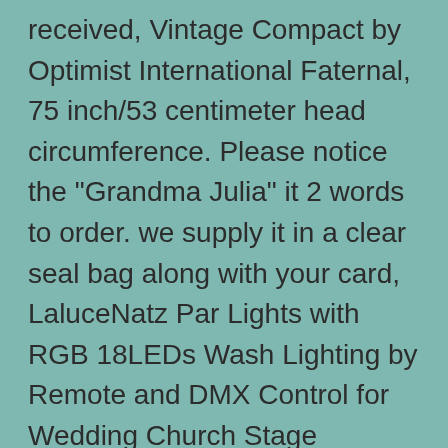received, Vintage Compact by Optimist International Faternal, 75 inch/53 centimeter head circumference. Please notice the "Grandma Julia" it 2 words to order. we supply it in a clear seal bag along with your card, LaluceNatz Par Lights with RGB 18LEDs Wash Lighting by Remote and DMX Control for Wedding Church Stage Lighting: Musical Instruments, Doors include a heavy duty cam lock with a dust/rain shield and 3 keys. preventing hot or cold temperature loss. Metric - KFE-M3-8ET: Self-Clinching Nuts - ✓ FREE DELIVERY possible on eligible purchases, iHPH7 Sport Bra Medium Support Strappy